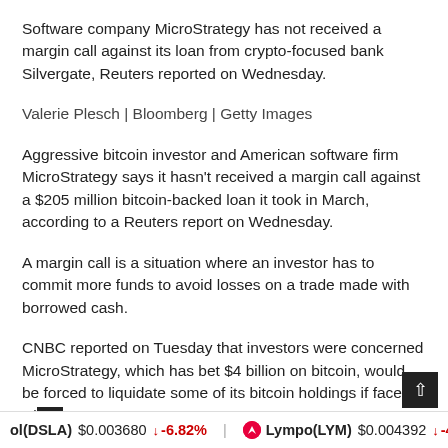Software company MicroStrategy has not received a margin call against its loan from crypto-focused bank Silvergate, Reuters reported on Wednesday.
Valerie Plesch | Bloomberg | Getty Images
Aggressive bitcoin investor and American software firm MicroStrategy says it hasn't received a margin call against a $205 million bitcoin-backed loan it took in March, according to a Reuters report on Wednesday.
A margin call is a situation where an investor has to commit more funds to avoid losses on a trade made with borrowed cash.
CNBC reported on Tuesday that investors were concerned MicroStrategy, which has bet $4 billion on bitcoin, would be forced to liquidate some of its bitcoin holdings if faced with a margin call.
ol(DSLA) $0.003680 ↓ -6.82%   Lympo(LYM) $0.004392 ↓ -4.43%